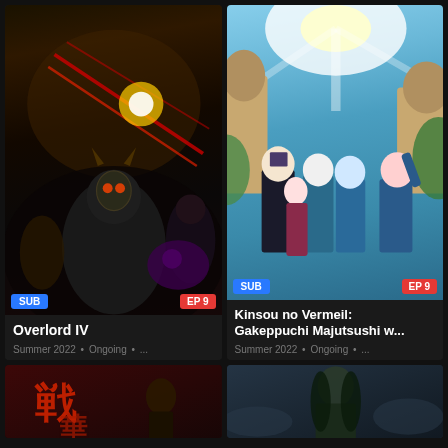[Figure (screenshot): Anime streaming website grid layout showing 4 anime thumbnails]
SUB
EP 9
Overlord IV
Summer 2022 • Ongoing • ...
SUB
EP 9
Kinsou no Vermeil: Gakeppuchi Majutsushi w...
Summer 2022 • Ongoing • ...